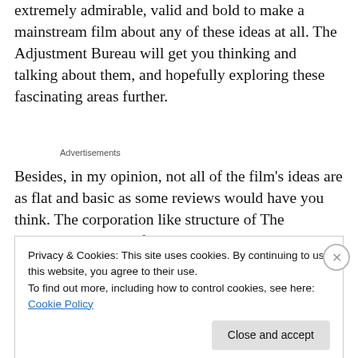extremely admirable, valid and bold to make a mainstream film about any of these ideas at all. The Adjustment Bureau will get you thinking and talking about them, and hopefully exploring these fascinating areas further.
Advertisements
Besides, in my opinion, not all of the film's ideas are as flat and basic as some reviews would have you think. The corporation like structure of The Adjustment Bureau for
Privacy & Cookies: This site uses cookies. By continuing to use this website, you agree to their use.
To find out more, including how to control cookies, see here: Cookie Policy
Close and accept